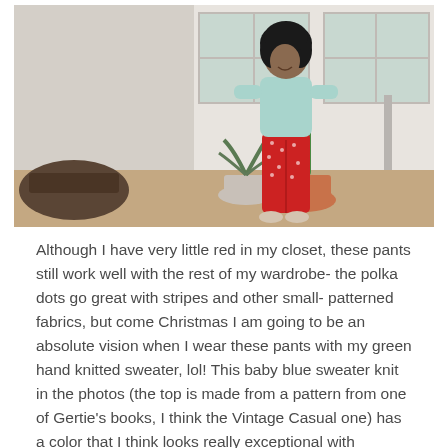[Figure (photo): A woman with curly hair wearing a light blue knit sweater and red polka dot wide-leg pants, standing outside against a white wall with potted plants including a cactus beside her.]
Although I have very little red in my closet, these pants still work well with the rest of my wardrobe- the polka dots go great with stripes and other small- patterned fabrics, but come Christmas I am going to be an absolute vision when I wear these pants with my green hand knitted sweater, lol! This baby blue sweater knit in the photos (the top is made from a pattern from one of Gertie's books, I think the Vintage Casual one) has a color that I think looks really exceptional with browns, oranges and reds, and it's the only reason I have kept it in my closet. Blue is not anywhere in my color palette and I'm not crazy about wearing it close to my